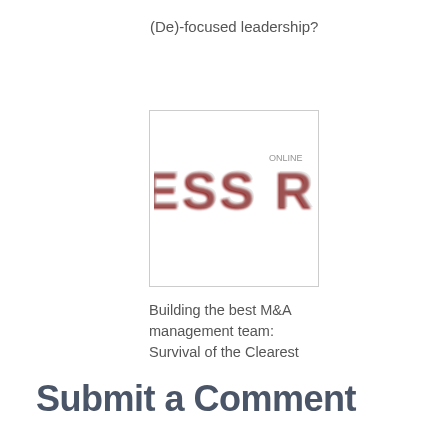(De)-focused leadership?
[Figure (logo): Partially visible red bold text logo reading 'ESS REPORTER' with bold serif condensed letters in dark red/crimson color on white background, slightly blurred]
Building the best M&A management team: Survival of the Clearest
Submit a Comment